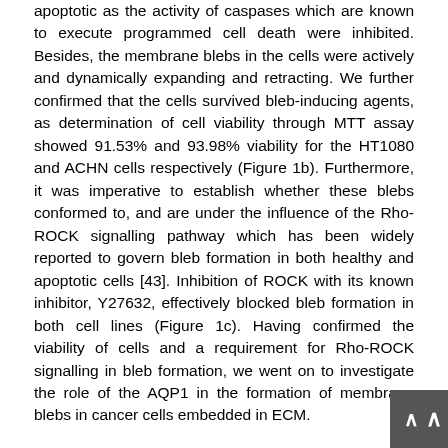apoptotic as the activity of caspases which are known to execute programmed cell death were inhibited. Besides, the membrane blebs in the cells were actively and dynamically expanding and retracting. We further confirmed that the cells survived bleb-inducing agents, as determination of cell viability through MTT assay showed 91.53% and 93.98% viability for the HT1080 and ACHN cells respectively (Figure 1b). Furthermore, it was imperative to establish whether these blebs conformed to, and are under the influence of the Rho-ROCK signalling pathway which has been widely reported to govern bleb formation in both healthy and apoptotic cells [43]. Inhibition of ROCK with its known inhibitor, Y27632, effectively blocked bleb formation in both cell lines (Figure 1c). Having confirmed the viability of cells and a requirement for Rho-ROCK signalling in bleb formation, we went on to investigate the role of the AQP1 in the formation of membrane blebs in cancer cells embedded in ECM.
Initially, we investigated the expression levels of AQP1, AQP3, AQP4 and AQP5, which have been previously implicated in different cancers [28,47-51], in the profusely blebbing HT1080 cells, and detected expression of only AQP1 and AQP5 in this cell line (Figure 2a). Furthermore, by using Western blotting, AQP1, which is the best characterized of all known AQP isoforms was found expressed across the other five different cancer cell lines, with the non-